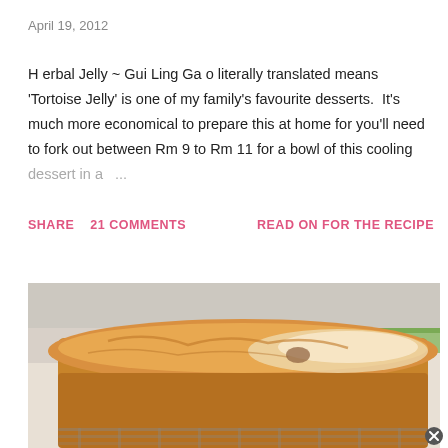April 19, 2012
Herbal Jelly ~ Gui Ling Gao literally translated means 'Tortoise Jelly' is one of my family's favourite desserts.  It's much more economical to prepare this at home for you'll need to fork out between Rm 9 to Rm 11 for a bowl of this cooling dessert in a ...
SHARE    21 COMMENTS    READ ON FOR THE RECIPE
[Figure (photo): Close-up photo of a golden-brown loaf cake dusted with powdered sugar on a cooling rack, with green leaves visible in the background.]